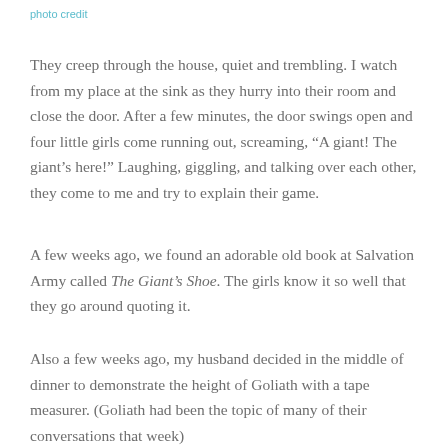photo credit
They creep through the house, quiet and trembling. I watch from my place at the sink as they hurry into their room and close the door. After a few minutes, the door swings open and four little girls come running out, screaming, “A giant! The giant’s here!” Laughing, giggling, and talking over each other, they come to me and try to explain their game.
A few weeks ago, we found an adorable old book at Salvation Army called The Giant’s Shoe. The girls know it so well that they go around quoting it.
Also a few weeks ago, my husband decided in the middle of dinner to demonstrate the height of Goliath with a tape measurer. (Goliath had been the topic of many of their conversations that week)